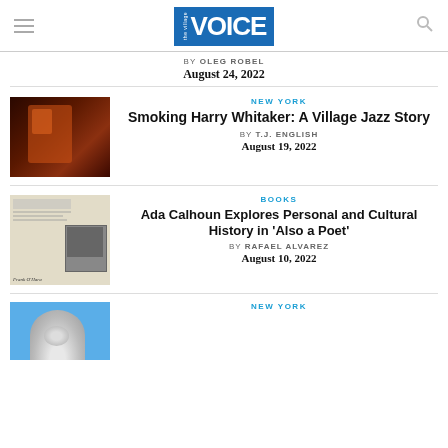[Figure (logo): The Village Voice logo — blue box with 'the village' small text and large 'VOICE' in white]
by OLEG ROBEL
August 24, 2022
[Figure (photo): Dark warm-toned photo of person through a lit window frame]
NEW YORK
Smoking Harry Whitaker: A Village Jazz Story
by T.J. ENGLISH
August 19, 2022
[Figure (photo): Black and white newspaper clipping image with 'Frank O'Hara' label]
BOOKS
Ada Calhoun Explores Personal and Cultural History in 'Also a Poet'
by RAFAEL ALVAREZ
August 10, 2022
[Figure (photo): Blue sky photo with silver dome structure]
NEW YORK